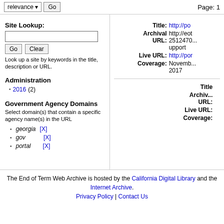relevance  Go    Page: 1
Site Lookup:
Look up a site by keywords in the title, description or URL.
Administration
2016 (2)
Government Agency Domains
Select domain(s) that contain a specific agency name(s) in the URL
georgia [X]
gov [X]
portal [X]
Title: http://po...
Archival URL: http://eot...2512470...upport
Live URL: http://por...
Coverage: November 2017
Title:
Archival URL:
Live URL:
Coverage:
The End of Term Web Archive is hosted by the California Digital Library and the Internet Archive.
Privacy Policy | Contact Us